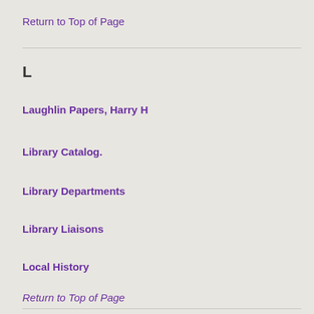Return to Top of Page
L
Laughlin Papers, Harry H
Library Catalog.
Library Departments
Library Liaisons
Local History
Return to Top of Page